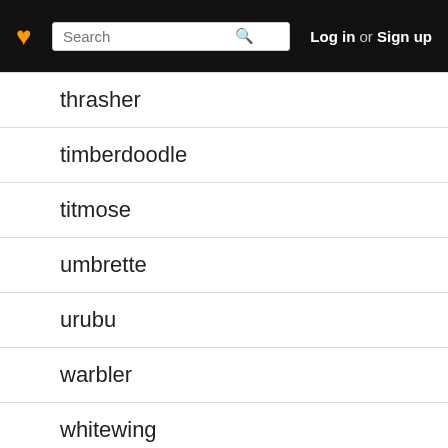Log in or Sign up
thrasher
timberdoodle
titmose
umbrette
urubu
warbler
whitewing
whydah
sittella